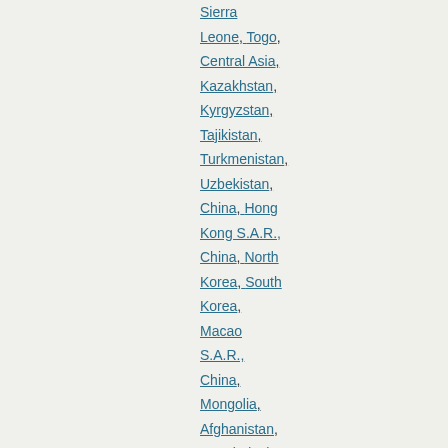Sierra Leone, Togo, Central Asia, Kazakhstan, Kyrgyzstan, Tajikistan, Turkmenistan, Uzbekistan, China, Hong Kong S.A.R., China, North Korea, South Korea, Macao S.A.R., China, Mongolia, Afghanistan, Bangladesh, Bhutan, India, Iran,